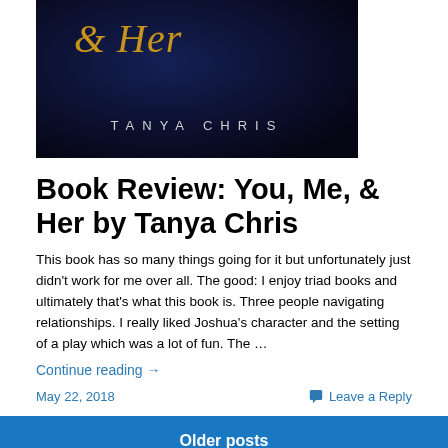[Figure (illustration): Book cover of 'You, Me, & Her by Tanya Chris' with dark navy/blue background, gold script title text '& Her' and author name 'TANYA CHRIS' in spaced white capitals]
Book Review: You, Me, & Her by Tanya Chris
This book has so many things going for it but unfortunately just didn't work for me over all. The good: I enjoy triad books and ultimately that's what this book is. Three people navigating relationships. I really liked Joshua's character and the setting of a play which was a lot of fun. The …
Continue reading →
May 22, 2018
Leave a Reply
Older posts